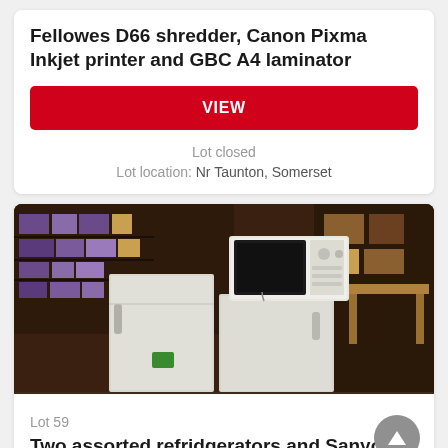Fellowes D66 shredder, Canon Pixma Inkjet printer and GBC A4 laminator
VIEW
Lot closed
Lot location: Nr Taunton, Somerset
[Figure (photo): Photograph showing two white refrigerators with a microwave oven on top of one, in a cluttered storage room with boxes and shelving in the background.]
Lot 59
Two assorted refridgerators and Sanyo microwave